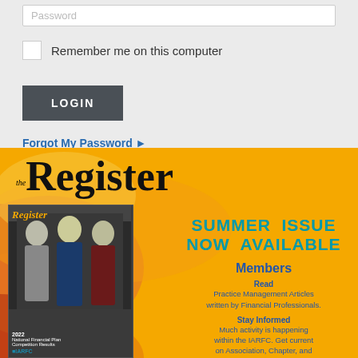Password
Remember me on this computer
LOGIN
Forgot My Password ▶
[Figure (screenshot): The Register magazine summer issue promotional banner with magazine cover showing three people (2022 National Financial Plan Competition Results), decorative swirls in orange/red/yellow on gold background]
the Register
SUMMER ISSUE NOW AVAILABLE
Members
Read Practice Management Articles written by Financial Professionals.
Stay Informed Much activity is happening within the IARFC. Get current on Association, Chapter, and International news!